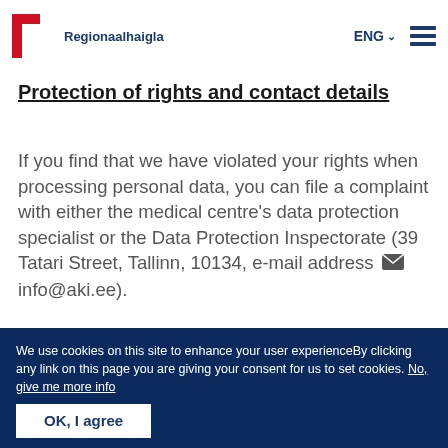Regionaalhaigla | ENG | menu
Protection of rights and contact details
If you find that we have violated your rights when processing personal data, you can file a complaint with either the medical centre's data protection specialist or the Data Protection Inspectorate (39 Tatari Street, Tallinn, 10134, e-mail address info@aki.ee).
We use cookies on this site to enhance your user experienceBy clicking any link on this page you are giving your consent for us to set cookies. No, give me more info
OK, I agree